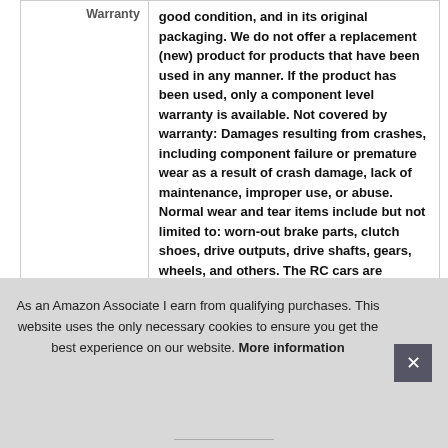|  | Warranty |
| --- | --- |
| Warranty | good condition, and in its original packaging. We do not offer a replacement (new) product for products that have been used in any manner. If the product has been used, only a component level warranty is available. Not covered by warranty: Damages resulting from crashes, including component failure or premature wear as a result of crash damage, lack of maintenance, improper use, or abuse. Normal wear and tear items include but not limited to: worn-out brake parts, clutch shoes, drive outputs, drive shafts, gears, wheels, and others. The RC cars are deemed to be IPX 4 ... |
As an Amazon Associate I earn from qualifying purchases. This website uses the only necessary cookies to ensure you get the best experience on our website. More information